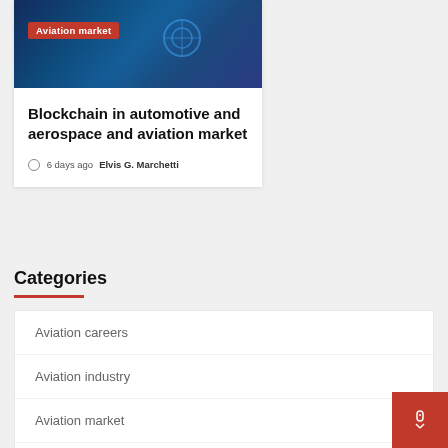[Figure (photo): Dark blue technology themed image with a circular icon overlay, labeled with 'Aviation market' badge in red]
Blockchain in automotive and aerospace and aviation market
6 days ago  Elvis G. Marchetti
Categories
Aviation careers
Aviation industry
Aviation market
Aviation research